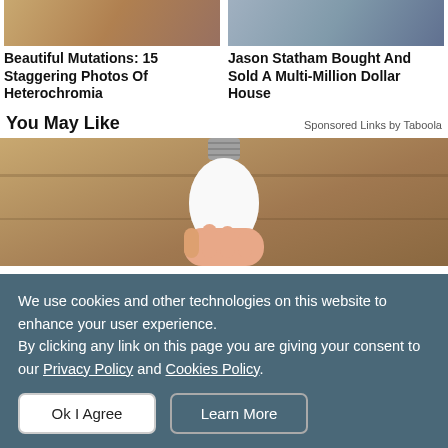[Figure (photo): Cropped photo of heterochromia subject — top portion]
Beautiful Mutations: 15 Staggering Photos Of Heterochromia
[Figure (photo): Cropped photo related to Jason Statham house story — top portion]
Jason Statham Bought And Sold A Multi-Million Dollar House
You May Like
Sponsored Links by Taboola
[Figure (photo): Hand holding a white smart light bulb against a wooden background]
We use cookies and other technologies on this website to enhance your user experience.
By clicking any link on this page you are giving your consent to our Privacy Policy and Cookies Policy.
Ok I Agree
Learn More